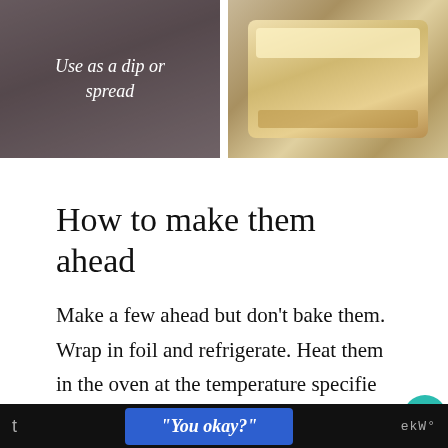[Figure (photo): Left photo showing a dip or spread with text overlay 'Use as a dip or spread' on a dark background]
[Figure (photo): Right photo showing a sandwich/burger wrapped in foil on a wooden surface]
How to make them ahead
Make a few ahead but don't bake them. Wrap in foil and refrigerate. Heat them in the oven at the temperature specified in the recipe, or microwave (wrapped in a paper towel, of course) for a minute or two
[Figure (other): Social media overlay: teal heart button with 145 count, and share button]
"You okay?"